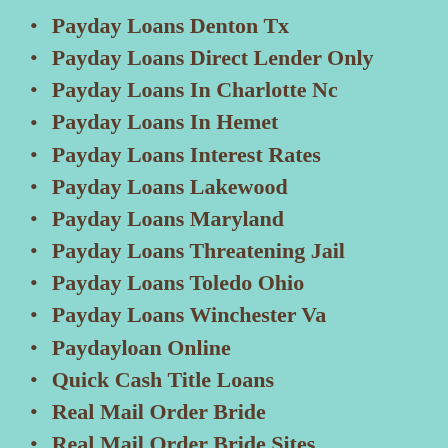Payday Loans Denton Tx
Payday Loans Direct Lender Only
Payday Loans In Charlotte Nc
Payday Loans In Hemet
Payday Loans Interest Rates
Payday Loans Lakewood
Payday Loans Maryland
Payday Loans Threatening Jail
Payday Loans Toledo Ohio
Payday Loans Winchester Va
Paydayloan Online
Quick Cash Title Loans
Real Mail Order Bride
Real Mail Order Bride Sites
Refinance Payday Loans
Sameday Payday Loans Online